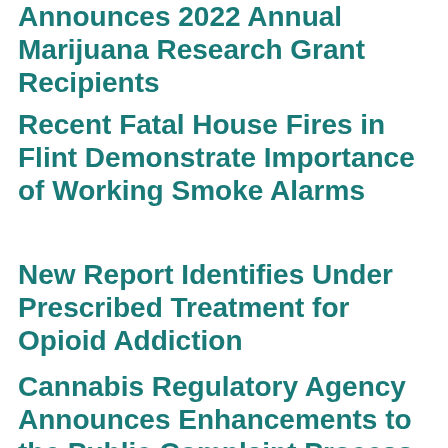Announces 2022 Annual Marijuana Research Grant Recipients
Recent Fatal House Fires in Flint Demonstrate Importance of Working Smoke Alarms
New Report Identifies Under Prescribed Treatment for Opioid Addiction
Cannabis Regulatory Agency Announces Enhancements to the Public Complaint Process & Continued Improvements to